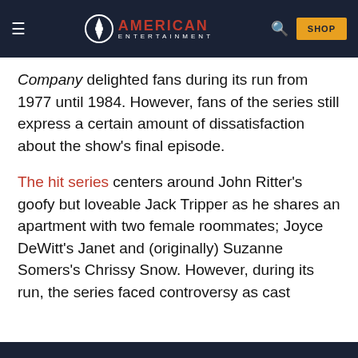American Entertainment — SHOP
Company delighted fans during its run from 1977 until 1984. However, fans of the series still express a certain amount of dissatisfaction about the show's final episode.
The hit series centers around John Ritter's goofy but loveable Jack Tripper as he shares an apartment with two female roommates; Joyce DeWitt's Janet and (originally) Suzanne Somers's Chrissy Snow. However, during its run, the series faced controversy as cast